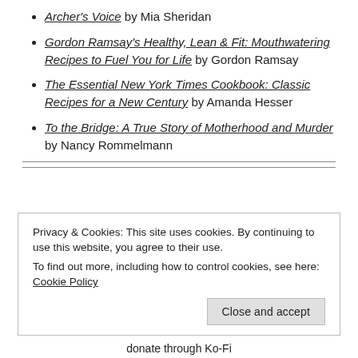Archer's Voice by Mia Sheridan
Gordon Ramsay's Healthy, Lean & Fit: Mouthwatering Recipes to Fuel You for Life by Gordon Ramsay
The Essential New York Times Cookbook: Classic Recipes for a New Century by Amanda Hesser
To the Bridge: A True Story of Motherhood and Murder by Nancy Rommelmann
Privacy & Cookies: This site uses cookies. By continuing to use this website, you agree to their use.
To find out more, including how to control cookies, see here: Cookie Policy
Close and accept
donate through Ko-Fi